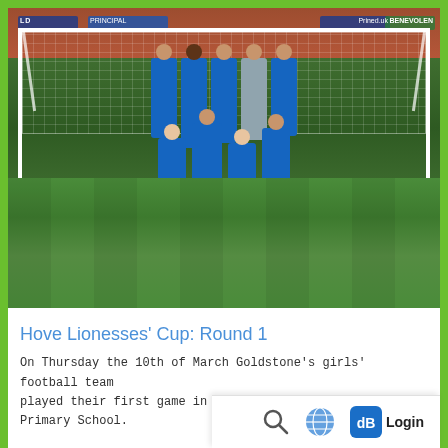[Figure (photo): Youth girls football team in blue kits posing in front of a goal net on a grass pitch at a stadium. Some players are kneeling, others standing. Stadium red seating and advertising boards visible in background.]
Hove Lionesses' Cup: Round 1
On Thursday the 10th of March Goldstone's girls' football team played their first game in the Hove L... Primary School.